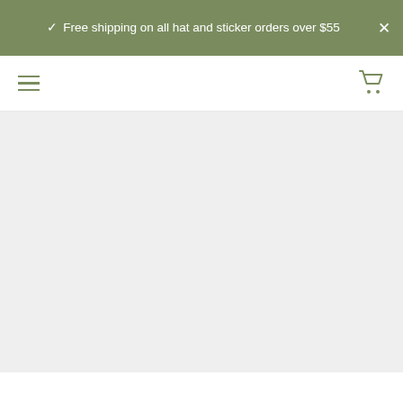✓ Free shipping on all hat and sticker orders over $55
[Figure (screenshot): Navigation bar with hamburger menu icon on left and shopping cart icon on right, olive/sage green color scheme]
[Figure (screenshot): Large light gray content area placeholder below the navigation bar]